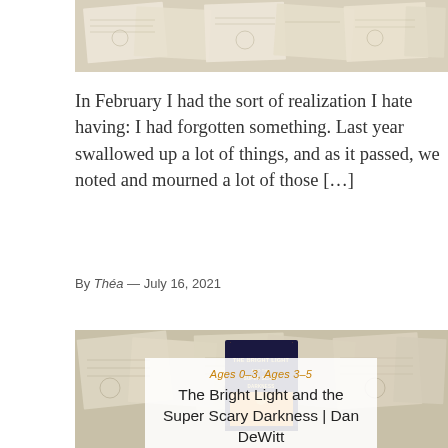[Figure (photo): Top partial image of scattered old book pages and illustrations on a light background]
In February I had the sort of realization I hate having: I had forgotten something. Last year swallowed up a lot of things, and as it passed, we noted and mourned a lot of those […]
By Théa — July 16, 2021
[Figure (photo): Book cover of 'The Bright Light and the Super Scary Darkness' by Dan DeWitt placed on scattered old illustrated book pages, with a semi-transparent white overlay box showing the title and category tags]
Ages 0–3, Ages 3–5
The Bright Light and the Super Scary Darkness | Dan DeWitt